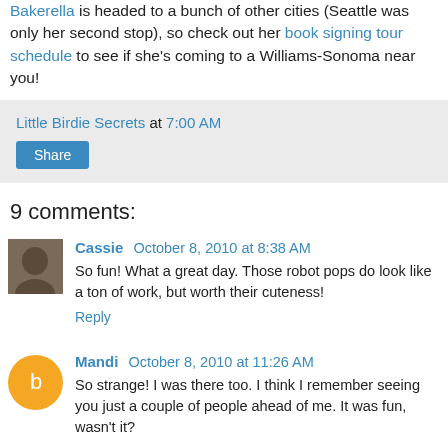Bakerella is headed to a bunch of other cities (Seattle was only her second stop), so check out her book signing tour schedule to see if she's coming to a Williams-Sonoma near you!
Little Birdie Secrets at 7:00 AM
Share
9 comments:
Cassie  October 8, 2010 at 8:38 AM
So fun! What a great day. Those robot pops do look like a ton of work, but worth their cuteness!
Reply
Mandi  October 8, 2010 at 11:26 AM
So strange! I was there too. I think I remember seeing you just a couple of people ahead of me. It was fun, wasn't it?